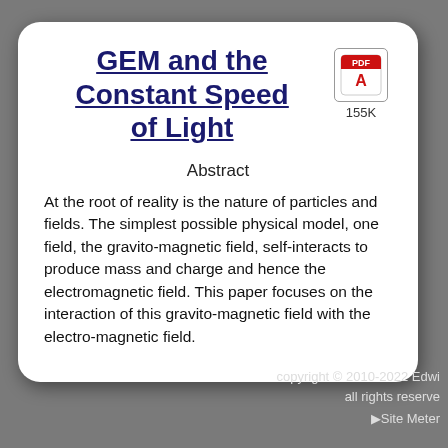GEM and the Constant Speed of Light
[Figure (other): PDF file icon with Adobe-style red banner]
155K
Abstract
At the root of reality is the nature of particles and fields. The simplest possible physical model, one field, the gravito-magnetic field, self-interacts to produce mass and charge and hence the electromagnetic field. This paper focuses on the interaction of this gravito-magnetic field with the electro-magnetic field.
copyright © 2010-2022 Edwi all rights reserve
Site Meter